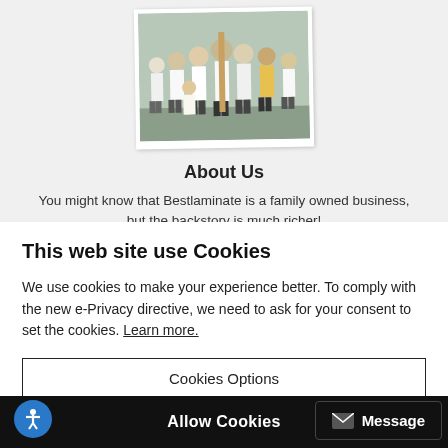[Figure (photo): Group photo of people in white shirts standing outdoors, shown as a slightly rotated polaroid-style photo]
About Us
You might know that Bestlaminate is a family owned business, but the backstory is much richer!
This web site use Cookies
We use cookies to make your experience better. To comply with the new e-Privacy directive, we need to ask for your consent to set the cookies. Learn more.
Cookies Options
Allow Cookies